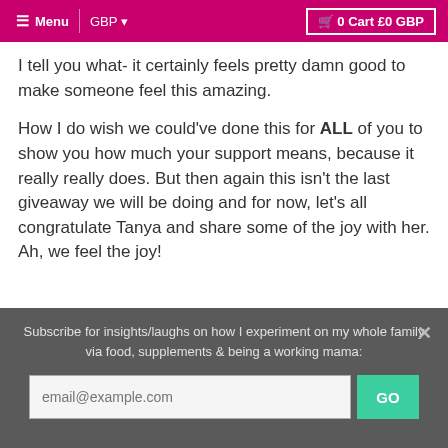Menu  GBP  0 Cart £0 GBP
I tell you what- it certainly feels pretty damn good to make someone feel this amazing.
How I do wish we could've done this for ALL of you to show you how much your support means, because it really really does. But then again this isn't the last giveaway we will be doing and for now, let's all congratulate Tanya and share some of the joy with her. Ah, we feel the joy!
Subscribe for insights/laughs on how I experiment on my whole family via food, supplements & being a working mama:  email@example.com  GO